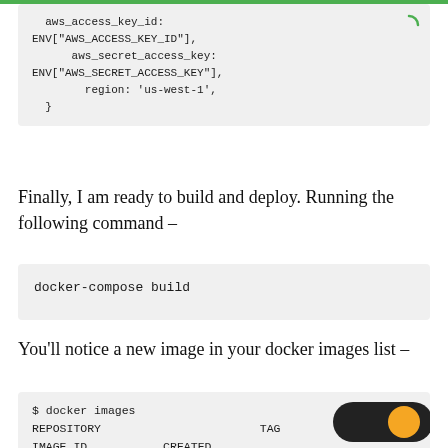[Figure (screenshot): Code block showing AWS config with access key id, secret access key, and region set to us-west-1, with a loading spinner icon in top right]
Finally, I am ready to build and deploy. Running the following command –
[Figure (screenshot): Code block showing: docker-compose build]
You'll notice a new image in your docker images list –
[Figure (screenshot): Code block showing docker images output: REPOSITORY TAG IMAGE ID CREATED SIZE freedbin_app latest 20a0334cd11c 30 minutes ago 1.27GB, with toggle switch overlay]